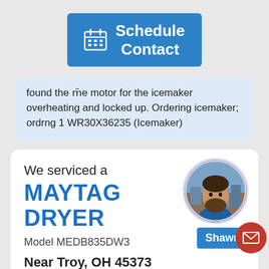[Figure (infographic): Blue 'Schedule Contact' button with calendar icon]
found the motor for the icemaker overheating and locked up. Ordering icemaker; ordrng 1 WR30X36235 (Icemaker)
We serviced a
MAYTAG DRYER
Model MEDB835DW3
[Figure (photo): Circular profile photo of technician Shawn with a Shawn name bar and red email button]
Near Troy, OH 45373